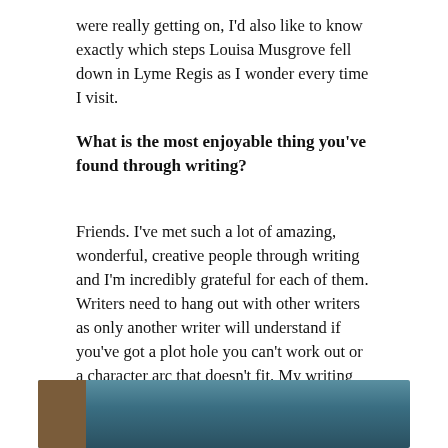were really getting on, I'd also like to know exactly which steps Louisa Musgrove fell down in Lyme Regis as I wonder every time I visit.
What is the most enjoyable thing you've found through writing?
Friends. I've met such a lot of amazing, wonderful, creative people through writing and I'm incredibly grateful for each of them. Writers need to hang out with other writers as only another writer will understand if you've got a plot hole you can't work out or a character arc that doesn't fit. My writing pals are all over the UK and further afield and I don't get to see them very often but we keep in touch online and they're a really important part of my life as a writer.
[Figure (photo): Bottom portion of a photo showing a brown shape on the left and blue/teal sky or background.]